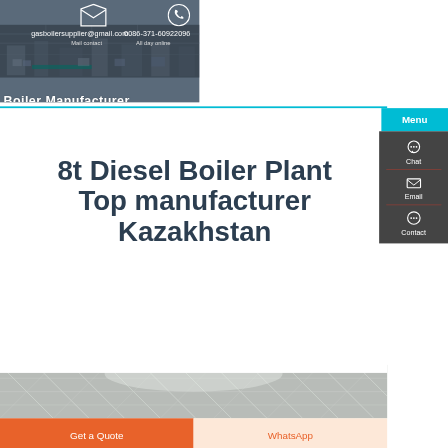[Figure (screenshot): Website header showing a factory/boiler manufacturing facility background image with dark overlay. Contains email contact (gasboilersupplier@gmail.com) and phone number (0086-371-60922096) with icons, and 'Boiler Manufacturer' text partially visible.]
gasboilersupplier@gmail.com
Mail contact
0086-371-60922096
All day online
Boiler Manufacturer
Menu
8t Diesel Boiler Plant Top manufacturer Kazakhstan
[Figure (screenshot): Right sidebar navigation with Chat, Email, and Contact icons on dark grey background]
[Figure (photo): Bottom strip showing interior of industrial facility/warehouse with structural roof trusses]
Get a Quote
WhatsApp